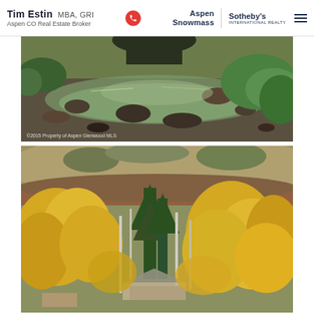Tim Estin MBA, GRI — Aspen CO Real Estate Broker — Aspen Snowmass | Sotheby's International Realty
[Figure (photo): Shallow clear mountain stream with rocky bed and green vegetation along the banks, viewed from stream level. Watermark: ©2015 Property of Aspen Glenwood MLS]
[Figure (photo): Aerial view of autumn trees (yellow aspens and green conifers) with brown hills in background and a structure partially visible below the canopy]